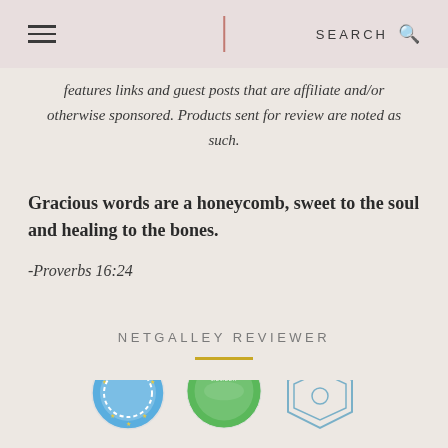SEARCH
features links and guest posts that are affiliate and/or otherwise sponsored. Products sent for review are noted as such.
Gracious words are a honeycomb, sweet to the soul and healing to the bones.
-Proverbs 16:24
NETGALLEY REVIEWER
[Figure (logo): Three NetGalley badge/logo icons partially visible at bottom of page]